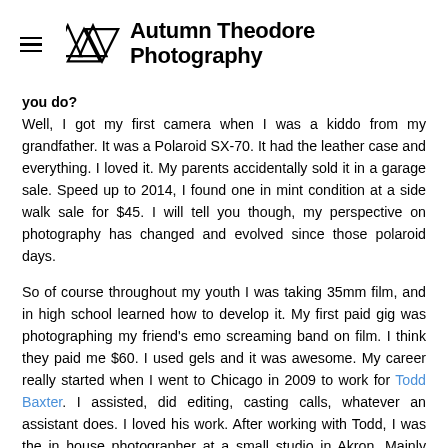Autumn Theodore Photography
you do? Well, I got my first camera when I was a kiddo from my grandfather. It was a Polaroid SX-70. It had the leather case and everything. I loved it. My parents accidentally sold it in a garage sale. Speed up to 2014, I found one in mint condition at a side walk sale for $45. I will tell you though, my perspective on photography has changed and evolved since those polaroid days.
So of course throughout my youth I was taking 35mm film, and in high school learned how to develop it. My first paid gig was photographing my friend's emo screaming band on film. I think they paid me $60. I used gels and it was awesome. My career really started when I went to Chicago in 2009 to work for Todd Baxter. I assisted, did editing, casting calls, whatever an assistant does. I loved his work. After working with Todd, I was the in house photographer at a small studio in Akron. Mainly shooting Guess Eyewear floating frames, still life and studio work (before Warby